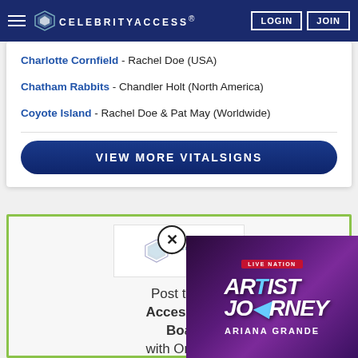CELEBRITYACCESS. LOGIN JOIN
Charlotte Cornfield - Rachel Doe (USA)
Chatham Rabbits - Chandler Holt (North America)
Coyote Island - Rachel Doe & Pat May (Worldwide)
VIEW MORE VITALSIGNS
[Figure (logo): CelebrityAccess logo in white card]
Post to CelebrityAccess and Boa with One S
[Figure (screenshot): Live Nation Artist Journey video overlay featuring Ariana Grande]